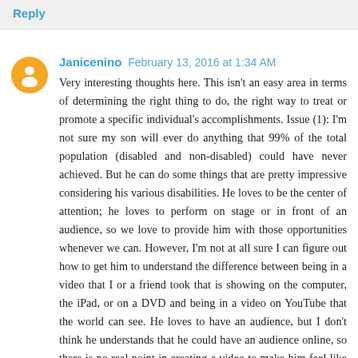Reply
Janicenino  February 13, 2016 at 1:34 AM
Very interesting thoughts here. This isn't an easy area in terms of determining the right thing to do, the right way to treat or promote a specific individual's accomplishments. Issue (1): I'm not sure my son will ever do anything that 99% of the total population (disabled and non-disabled) could have never achieved. But he can do some things that are pretty impressive considering his various disabilities. He loves to be the center of attention; he loves to perform on stage or in front of an audience, so we love to provide him with those opportunities whenever we can. However, I'm not at all sure I can figure out how to get him to understand the difference between being in a video that I or a friend took that is showing on the computer, the iPad, or on a DVD and being in a video on YouTube that the world can see. He loves to have an audience, but I don't think he understands that he could have an audience online, so there is no real point in creating a video to make him feel like he has an audience or is famous or anything like that. (Of course, he will enjoy watching himself, and he doesn't fully distinguish one kind of screen